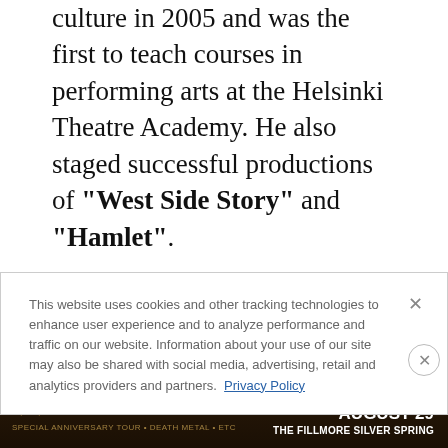culture in 2005 and was the first to teach courses in performing arts at the Helsinki Theatre Academy. He also staged successful productions of "West Side Story" and "Hamlet".
On Friday, former HIM drummer Mika "Gas Lipstick" Karppinen took to social media to share the news of Seppo's death. He wrote: Hi everyone. I have sad news. Seppo Vesterinen ex
This website uses cookies and other tracking technologies to enhance user experience and to analyze performance and traffic on our website. Information about your use of our site may also be shared with social media, advertising, retail and analytics providers and partners. Privacy Policy
[Figure (screenshot): Advertisement banner for 'At The Gates' concert on August 29 at The Fillmore Silver Spring]